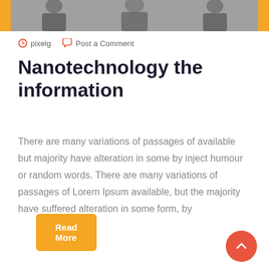[Figure (photo): A cropped photo strip at the top showing people in business attire against an orange background border.]
pixelg   Post a Comment
Nanotechnology the information
There are many variations of passages of available but majority have alteration in some by inject humour or random words. There are many variations of passages of Lorem Ipsum available, but the majority have suffered alteration in some form, by
Read More